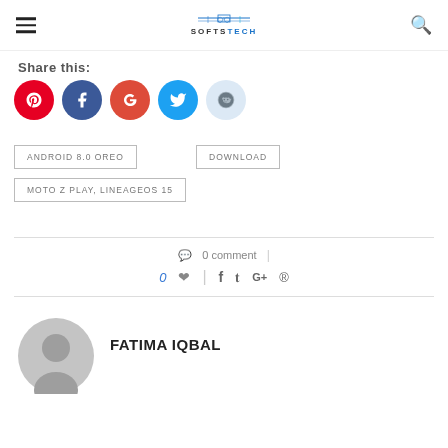SOFTSTECH
Share this:
[Figure (other): Social share icons: Pinterest (red), Facebook (dark blue), Google+ (red-orange), Twitter (blue), Reddit (light blue)]
ANDROID 8.0 OREO
DOWNLOAD
MOTO Z PLAY, LINEAGEOS 15
0 comment
0 ♡  |  f  𝕥  G+  ®
FATIMA IQBAL
[Figure (illustration): Grey circular avatar placeholder icon]